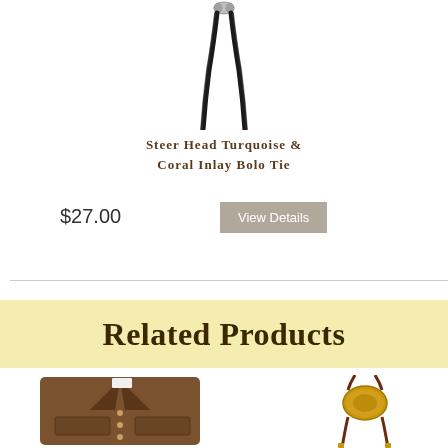[Figure (photo): Black braided bolo tie with silver tips at top]
Steer Head Turquoise & Coral Inlay Bolo Tie
$27.00
View Details
Related Products
[Figure (photo): Brown leather/suede vest with buttons and pockets]
[Figure (photo): Gold oval medallion bolo tie on brown cord with gold tips]